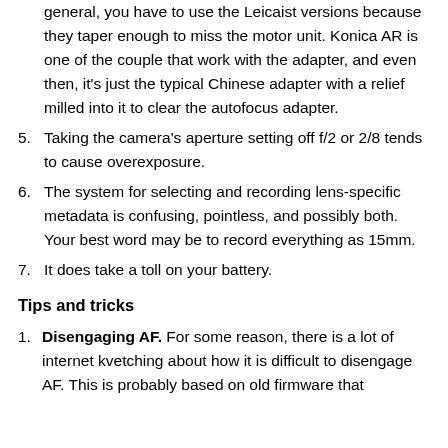general, you have to use the Leicaist versions because they taper enough to miss the motor unit. Konica AR is one of the couple that work with the adapter, and even then, it's just the typical Chinese adapter with a relief milled into it to clear the autofocus adapter.
5. Taking the camera's aperture setting off f/2 or 2/8 tends to cause overexposure.
6. The system for selecting and recording lens-specific metadata is confusing, pointless, and possibly both. Your best word may be to record everything as 15mm.
7. It does take a toll on your battery.
Tips and tricks
1. Disengaging AF. For some reason, there is a lot of internet kvetching about how it is difficult to disengage AF. This is probably based on old firmware that